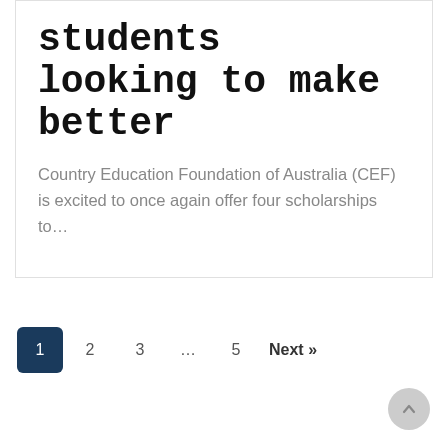students looking to make better
Country Education Foundation of Australia (CEF) is excited to once again offer four scholarships to…
1  2  3  …  5  Next »